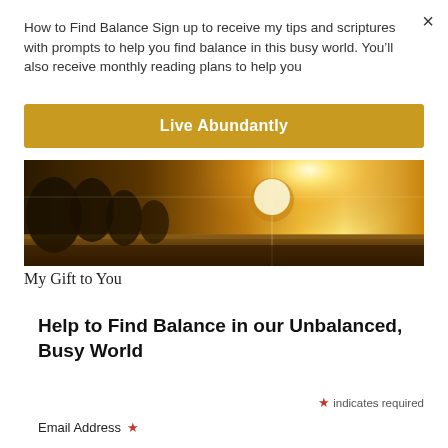How to Find Balance Sign up to receive my tips and scriptures with prompts to help you find balance in this busy world. You’ll also receive monthly reading plans to help you
×
Live Abundantly
[Figure (photo): Outdoor sunset photo showing a person with arms outstretched against bright golden sunlight and trees in background]
My Gift to You
Help to Find Balance in our Unbalanced, Busy World
* indicates required
Email Address *